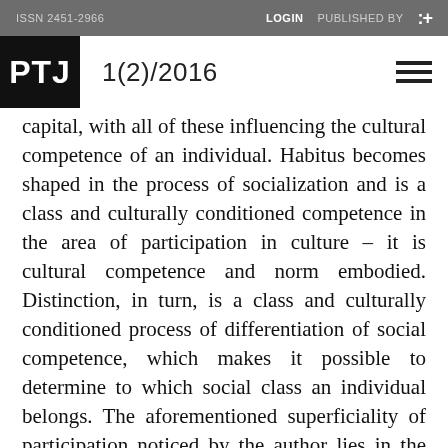ISSN 2451-2966   LOGIN   PUBLISHED BY   :+
PTJ   1(2)/2016
capital, with all of these influencing the cultural competence of an individual. Habitus becomes shaped in the process of socialization and is a class and culturally conditioned competence in the area of participation in culture – it is cultural competence and norm embodied. Distinction, in turn, is a class and culturally conditioned process of differentiation of social competence, which makes it possible to determine to which social class an individual belongs. The aforementioned superficiality of participation noticed by the author lies in the fact that one cannot participate without being colonized. In other words, artistic